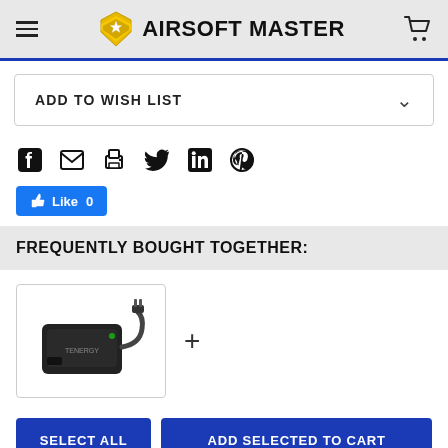AIRSOFT MASTER
ADD TO WISH LIST
[Figure (infographic): Social sharing icons row: Facebook, email/envelope, print, Twitter, LinkedIn, Pinterest]
Like 0
FREQUENTLY BOUGHT TOGETHER:
[Figure (photo): Product image of a black Tenergy battery charger/power adapter on white background inside a bordered box, followed by a plus sign]
SELECT ALL  ADD SELECTED TO CART